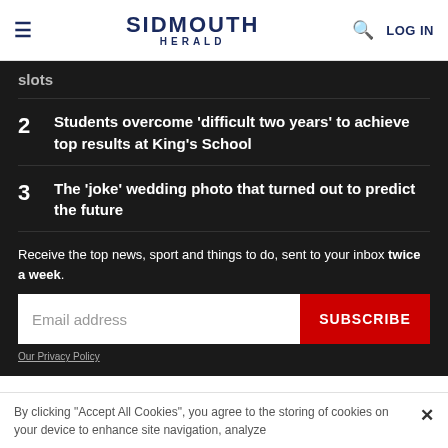SIDMOUTH HERALD | LOG IN
slots
2  Students overcome 'difficult two years' to achieve top results at King's School
3  The 'joke' wedding photo that turned out to predict the future
Receive the top news, sport and things to do, sent to your inbox twice a week.
Email address  SUBSCRIBE
Our Privacy Policy
By clicking "Accept All Cookies", you agree to the storing of cookies on your device to enhance site navigation, analyze